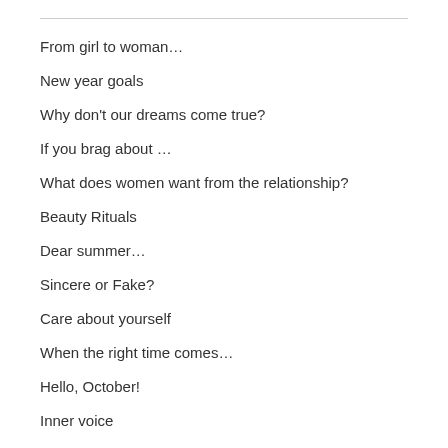From girl to woman…
New year goals
Why don't our dreams come true?
If you brag about …
What does women want from the relationship?
Beauty Rituals
Dear summer…
Sincere or Fake?
Care about yourself
When the right time comes…
Hello, October!
Inner voice